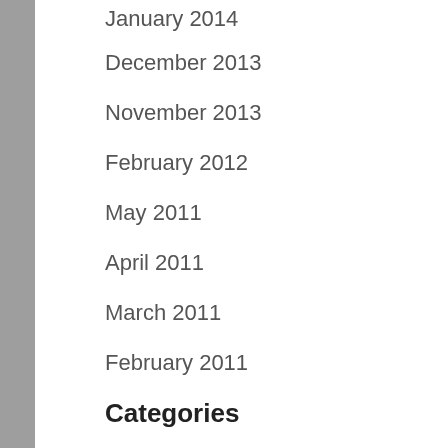January 2014
December 2013
November 2013
February 2012
May 2011
April 2011
March 2011
February 2011
December 2010
Categories